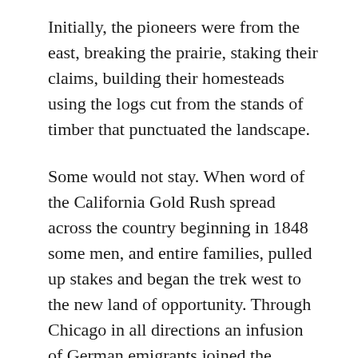Initially, the pioneers were from the east, breaking the prairie, staking their claims, building their homesteads using the logs cut from the stands of timber that punctuated the landscape.
Some would not stay. When word of the California Gold Rush spread across the country beginning in 1848 some men, and entire families, pulled up stakes and began the trek west to the new land of opportunity. Through Chicago in all directions an infusion of German emigrants joined the settlers of English, Scottish, and Irish origins who had come from the east and Canada.
The best early map of Ela Township is from 1861, and in the sections that 100 years later would be the nucleus of the Village of Deer Park we find a melting pot of families whose native languages and dialects were reflected in the churches they built, the stores and wagon